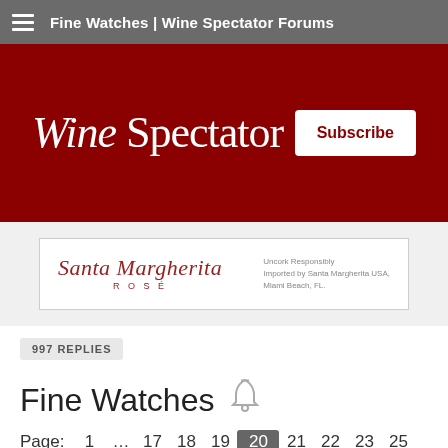Fine Watches | Wine Spectator Forums
[Figure (logo): Wine Spectator logo in white italic serif font on dark red background, with a white Subscribe button to the right]
[Figure (illustration): Santa Margherita Rosé advertisement banner: script logo in red on white background with text 'Uncork Responsibly Imported by Santa Margherita USA, Miami Beach, FL.']
997 REPLIES
Fine Watches
Page: 1 … 17 18 19 20 21 22 23 25